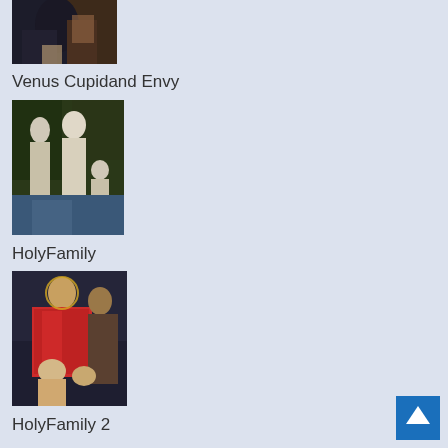[Figure (photo): Painting fragment showing armored figure, dark tones]
Venus Cupidand Envy
[Figure (photo): Renaissance painting of Venus, Cupid and Envy figures, classical nude composition]
HolyFamily
[Figure (photo): Renaissance painting of the Holy Family with Madonna in red garment holding infant]
HolyFamily 2
[Figure (other): Back to top button - blue square with upward arrow]